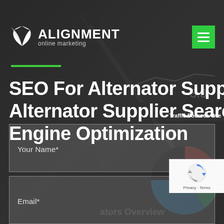[Figure (logo): Alignment Online Marketing logo with wing/leaf icon and green hamburger menu button in top right]
SEO For Alternator Suppliers – Alternator Supplier Search Engine Optimization
[Figure (other): Your Name* form input field with semi-transparent background]
[Figure (other): Email* form input field with semi-transparent background]
[Figure (other): reCAPTCHA Privacy - Terms badge in bottom right corner]